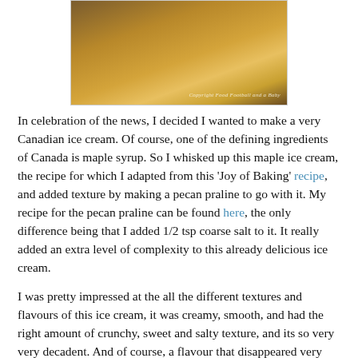[Figure (photo): Close-up photo of maple ice cream with a warm golden-brown color, partially visible, with a copyright watermark reading 'Copyright Food Football and a Baby']
In celebration of the news, I decided I wanted to make a very Canadian ice cream. Of course, one of the defining ingredients of Canada is maple syrup. So I whisked up this maple ice cream, the recipe for which I adapted from this 'Joy of Baking' recipe, and added texture by making a pecan praline to go with it. My recipe for the pecan praline can be found here, the only difference being that I added 1/2 tsp coarse salt to it. It really added an extra level of complexity to this already delicious ice cream.
I was pretty impressed at the all the different textures and flavours of this ice cream, it was creamy, smooth, and had the right amount of crunchy, sweet and salty texture, and its so very very decadent. And of course, a flavour that disappeared very quickly in our maple syrup loving household :-)